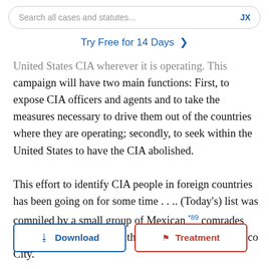Search all cases and statutes...    JX
Try Free for 14 Days >
United States CIA wherever it is operating. This campaign will have two main functions: First, to expose CIA officers and agents and to take the measures necessary to drive them out of the countries where they are operating; secondly, to seek within the United States to have the CIA abolished.

This effort to identify CIA people in foreign countries has been going on for some time . . .. (Today's) list was compiled by a small group of Mexican *89 comrades whom I trained to follow the co[urse of ope]s o[f th]e [CIA whe]re I left Mexico City.
[Figure (screenshot): Download button (blue border, blue text with download icon) and Treatment button (red border, red text with flag icon) overlaid at the bottom of the text]